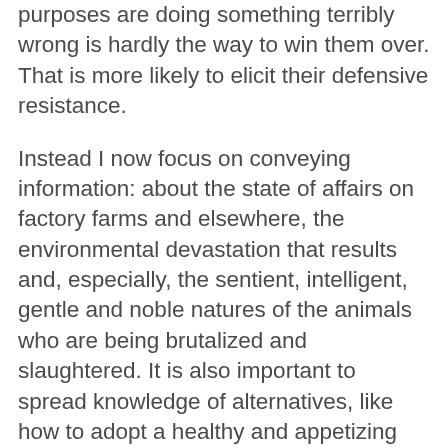purposes are doing something terribly wrong is hardly the way to win them over. That is more likely to elicit their defensive resistance.
Instead I now focus on conveying information: about the state of affairs on factory farms and elsewhere, the environmental devastation that results and, especially, the sentient, intelligent, gentle and noble natures of the animals who are being brutalized and slaughtered. It is also important to spread knowledge of alternatives, like how to adopt a healthy and appetizing vegan diet. If such efforts will not cause people to alter their eating and buying habits, support the passage of various laws and so forth, I don't know what will.
So nothing has changed, and everything has changed. For while my desires are the same, my manner of trying to implement them has altered radically. I now acknowledge that I cannot count on either God or morality to back up my personal